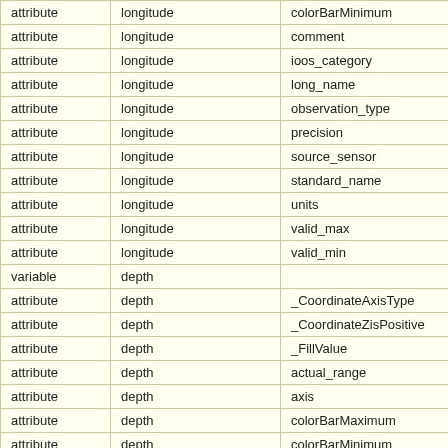| attribute | longitude | colorBarMinimum |
| attribute | longitude | comment |
| attribute | longitude | ioos_category |
| attribute | longitude | long_name |
| attribute | longitude | observation_type |
| attribute | longitude | precision |
| attribute | longitude | source_sensor |
| attribute | longitude | standard_name |
| attribute | longitude | units |
| attribute | longitude | valid_max |
| attribute | longitude | valid_min |
| variable | depth |  |
| attribute | depth | _CoordinateAxisType |
| attribute | depth | _CoordinateZisPositive |
| attribute | depth | _FillValue |
| attribute | depth | actual_range |
| attribute | depth | axis |
| attribute | depth | colorBarMaximum |
| attribute | depth | colorBarMinimum |
| attribute | depth | colorBarPalette |